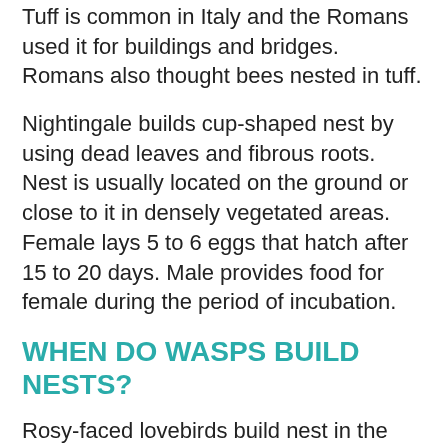Tuff is common in Italy and the Romans used it for buildings and bridges. Romans also thought bees nested in tuff.
Nightingale builds cup-shaped nest by using dead leaves and fibrous roots. Nest is usually located on the ground or close to it in densely vegetated areas. Female lays 5 to 6 eggs that hatch after 15 to 20 days. Male provides food for female during the period of incubation.
WHEN DO WASPS BUILD NESTS?
Rosy-faced lovebirds build nest in the crevices of rocks or as a part of nesting complex of social weavers. Nests are made of bark, leaves and other plant material which female collects and